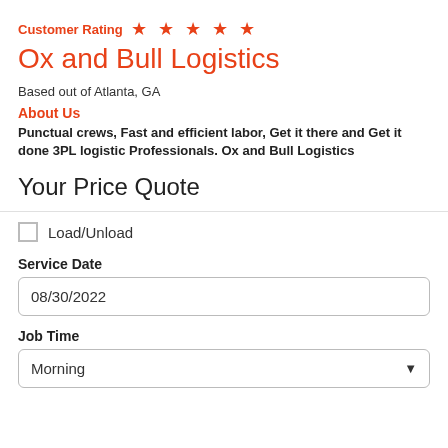Customer Rating ★★★★★
Ox and Bull Logistics
Based out of Atlanta, GA
About Us
Punctual crews, Fast and efficient labor, Get it there and Get it done 3PL logistic Professionals. Ox and Bull Logistics
Your Price Quote
Load/Unload
Service Date
08/30/2022
Job Time
Morning